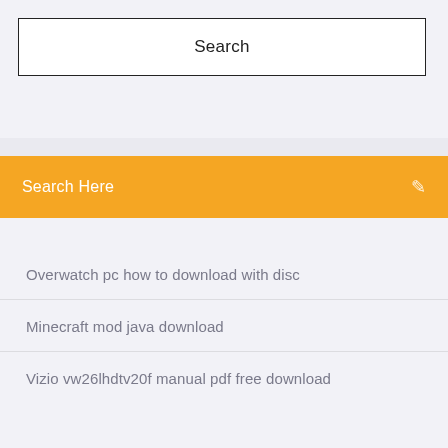Search
Search Here
Overwatch pc how to download with disc
Minecraft mod java download
Vizio vw26lhdtv20f manual pdf free download